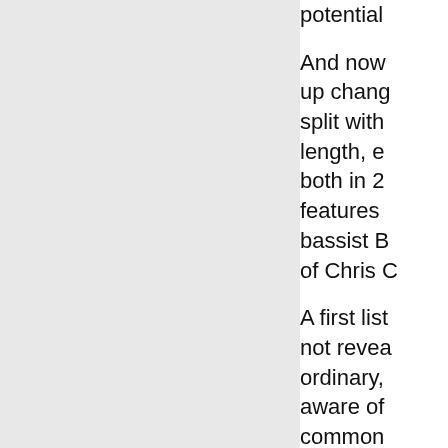potential
And now up chang split with length, e both in 2 features bassist B of Chris C
A first list not revea ordinary, aware of common style is in same so 'post-roc like Isis,
However Blind' is f Citing Ki Mavish